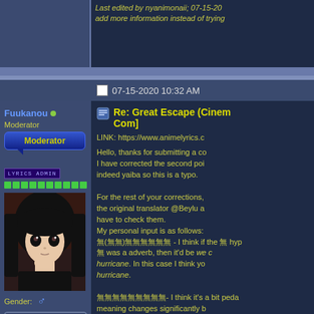Last edited by nyanimonaii; 07-15-20
add more information instead of trying
07-15-2020 10:32 AM
Fuukanou
Moderator
Moderator
LYRICS ADMIN
[Figure (photo): Anime avatar of a dark-haired girl in black clothing]
Gender:
Gifts
Re: Great Escape (Cinem Com]
LINK: https://www.animelyrics.c
Hello, thanks for submitting a co I have corrected the second poi indeed yaiba so this is a typo.

For the rest of your corrections, the original translator @Beylu a have to check them.
My personal input is as follows:
無()無無無無無無 - I think if the 無 hyp 無 was a adverb, then it'd be we c hurricane. In this case I think yo hurricane.

無無無無無無無無無- I think it's a bit peda meaning changes significantly b 無無無無should be changed (as you'r unmarked place that they're su